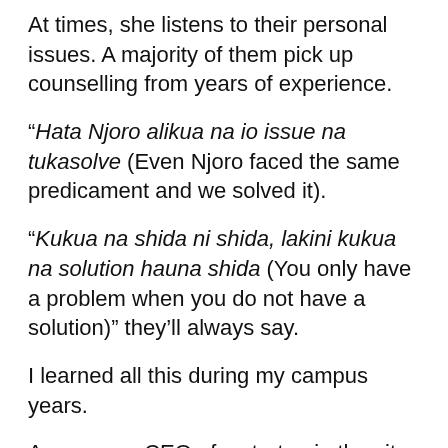At times, she listens to their personal issues. A majority of them pick up counselling from years of experience.
“Hata Njoro alikua na io issue na tukasolve (Even Njoro faced the same predicament and we solved it).
“Kukua na shida ni shida, lakini kukua na solution hauna shida (You only have a problem when you do not have a solution)” they’ll always say.
I learned all this during my campus years.
As a young CEO of a startup in the city, I was so immersed in my work. Startups require a lot of dedication and sacrifice. My tech company was competing with the blue chips and our rating was rising day in day out.
After graduation, I sought to create employment and the first people I hired were my schoolmates. I mixed